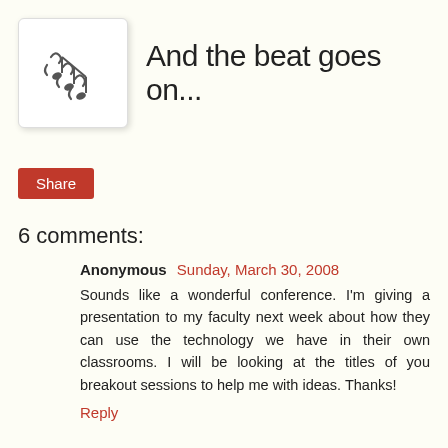[Figure (logo): Blog logo with musical note-like squiggles on white square background with shadow]
And the beat goes on...
Share
6 comments:
Anonymous Sunday, March 30, 2008
Sounds like a wonderful conference. I'm giving a presentation to my faculty next week about how they can use the technology we have in their own classrooms. I will be looking at the titles of you breakout sessions to help me with ideas. Thanks!
Reply